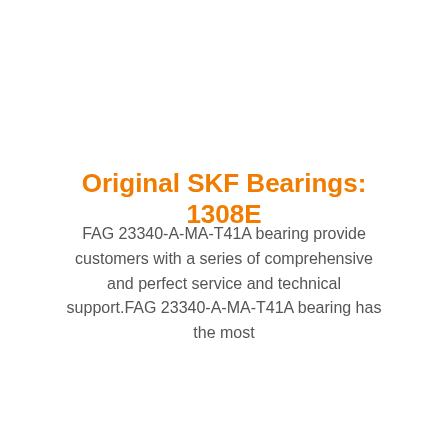Original SKF Bearings: 1308E
FAG 23340-A-MA-T41A bearing provide customers with a series of comprehensive and perfect service and technical support.FAG 23340-A-MA-T41A bearing has the most